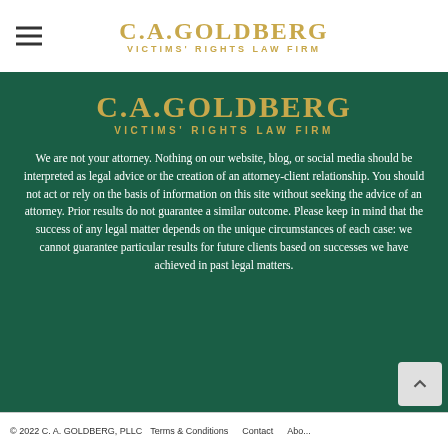C.A.GOLDBERG VICTIMS' RIGHTS LAW FIRM
C.A.GOLDBERG
VICTIMS' RIGHTS LAW FIRM
We are not your attorney. Nothing on our website, blog, or social media should be interpreted as legal advice or the creation of an attorney-client relationship. You should not act or rely on the basis of information on this site without seeking the advice of an attorney. Prior results do not guarantee a similar outcome. Please keep in mind that the success of any legal matter depends on the unique circumstances of each case: we cannot guarantee particular results for future clients based on successes we have achieved in past legal matters.
© 2022 C. A. GOLDBERG, PLLC   Terms & Conditions   Contact   About